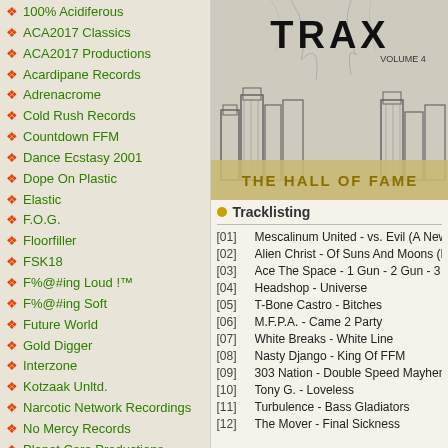100% Acidiferous
ACA2017 Classics
ACA2017 Productions
Acardipane Records
Adrenacrome
Cold Rush Records
Countdown FFM
Dance Ecstasy 2001
Dope On Plastic
Elastic
F.O.G.
Floorfiller
FSK18
F%@#ing Loud !™
F%@#ing Soft
Future World
Gold Digger
Interzone
Kotzaak Unltd.
Narcotic Network Recordings
No Mercy Records
Planet Core Productions
Powerplant
Pretty Asshole
Resident E Recordings
Super Special Corp.
Techno Tribe
Test
Thai Records
Tranceform
White Breaks
[Figure (illustration): Album cover for TRAX Volume 4 - The Hall Of Fame, showing a cityscape sketch with the title text]
Tracklisting
[01]   Mescalinum United - vs. Evil (A New L...
[02]   Alien Christ - Of Suns And Moons (Ph...
[03]   Ace The Space - 1 Gun - 2 Gun - 3 Gu...
[04]   Headshop - Universe
[05]   T-Bone Castro - Bitches
[06]   M.F.P.A. - Came 2 Party
[07]   White Breaks - White Line
[08]   Nasty Django - King Of FFM
[09]   303 Nation - Double Speed Mayhem
[10]   Tony G. - Loveless
[11]   Turbulence - Bass Gladiators
[12]   The Mover - Final Sickness